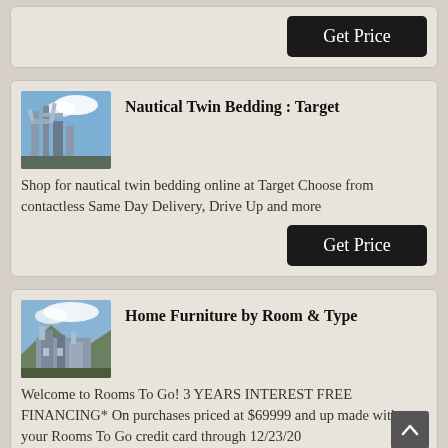[Figure (other): Partial card top showing only a Get Price button]
Get Price
[Figure (photo): Industrial facility or chemical plant with pipes and structures against a blue sky]
Nautical Twin Bedding : Target
Shop for nautical twin bedding online at Target Choose from contactless Same Day Delivery, Drive Up and more
Get Price
[Figure (photo): Industrial building or facility with structures against a cloudy sky and mountains]
Home Furniture by Room & Type
Welcome to Rooms To Go! 3 YEARS INTEREST FREE FINANCING* On purchases priced at $69999 and up made with your Rooms To Go credit card through 12/23/20